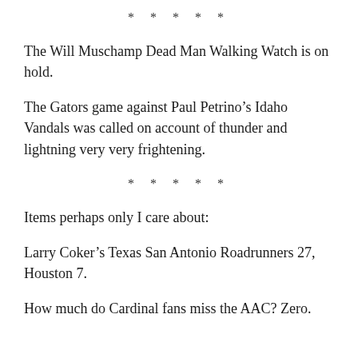* * * * *
The Will Muschamp Dead Man Walking Watch is on hold.
The Gators game against Paul Petrino’s Idaho Vandals was called on account of thunder and lightning very very frightening.
* * * * *
Items perhaps only I care about:
Larry Coker’s Texas San Antonio Roadrunners 27, Houston 7.
How much do Cardinal fans miss the AAC? Zero.